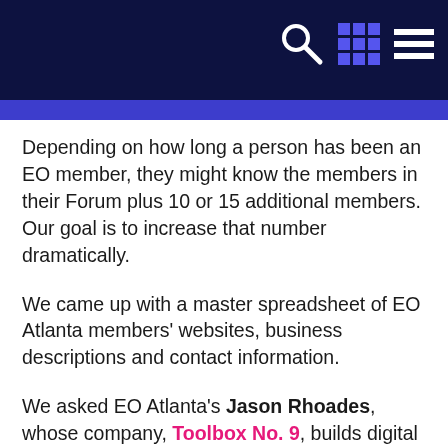[Navigation bar with search, grid, and menu icons]
Depending on how long a person has been an EO member, they might know the members in their Forum plus 10 or 15 additional members. Our goal is to increase that number dramatically.
We came up with a master spreadsheet of EO Atlanta members' websites, business descriptions and contact information.
We asked EO Atlanta's Jason Rhoades, whose company, Toolbox No. 9, builds digital experiences, to write custom code for this new program. It pairs everyone in the organization with someone outside their Forum every two weeks. Participating members receive a one-on-one mutual introduction from a "Concierge" email account we